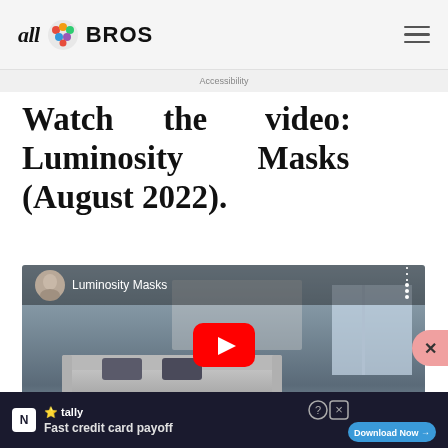all BROS
Accessibility
Watch the video: Luminosity Masks (August 2022).
[Figure (screenshot): YouTube video thumbnail showing a room interior with a play button, titled 'Luminosity Masks', with a speaker avatar in the top left corner]
[Figure (screenshot): Advertisement banner: Tally app - Fast credit card payoff, with Download Now button]